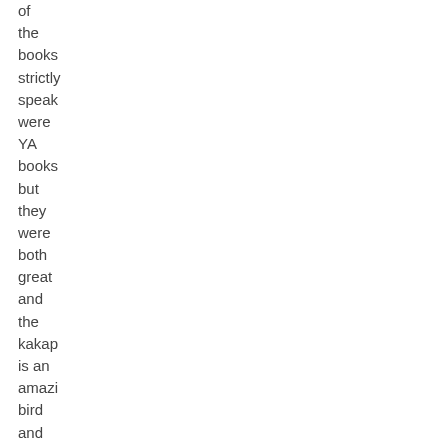of the books strictly speak were YA books but they were both great and the kakap is an amazi bird and I am going to blog